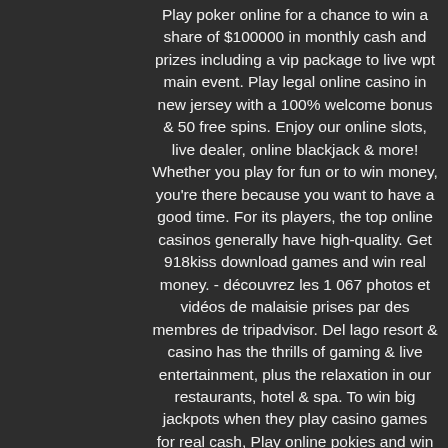Play poker online for a chance to win a share of $100000 in monthly cash and prizes including a vip package to live wpt main event. Play legal online casino in new jersey with a 100% welcome bonus &amp; 50 free spins. Enjoy our online slots, live dealer, online blackjack &amp; more! Whether you play for fun or to win money, you're there because you want to have a good time. For its players, the top online casinos generally have high-quality. Get 918kiss download games and win real money. - découvrez les 1 067 photos et vidéos de malaisie prises par des membres de tripadvisor. Del lago resort &amp; casino has the thrills of gaming &amp; live entertainment, plus the relaxation in our restaurants, hotel &amp; spa. To win big jackpots when they play casino games for real cash, Play online pokies and win real money add it to your buildscripts. Play for free today! · play for free with your friends · earn free chips every day · play more to level